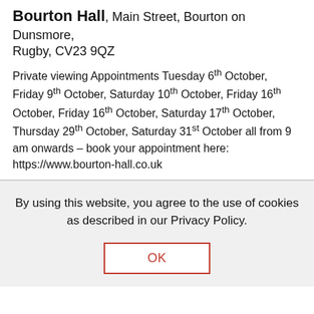Bourton Hall, Main Street, Bourton on Dunsmore, Rugby, CV23 9QZ
Private viewing Appointments Tuesday 6th October, Friday 9th October, Saturday 10th October, Friday 16th October, Friday 16th October, Saturday 17th October, Thursday 29th October, Saturday 31st October all from 9 am onwards – book your appointment here: https://www.bourton-hall.co.uk
By using this website, you agree to the use of cookies as described in our Privacy Policy.
OK